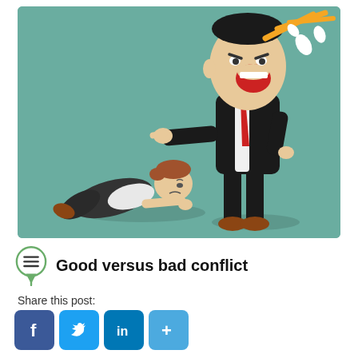[Figure (illustration): Cartoon illustration of workplace conflict: a large boss figure in a dark suit with red tie pointing and yelling (with orange lines and white droplets indicating shouting) at a small subordinate figure prostrating on a teal/green floor, looking sad and dejected.]
Good versus bad conflict
Share this post:
When groups are unfocused, have fuzzy boundaries,